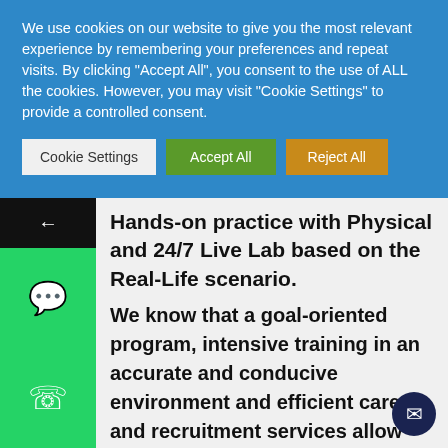We use cookies on our website to give you the most relevant experience by remembering your preferences and repeat visits. By clicking "Accept All", you consent to the use of ALL the cookies. However, you may visit "Cookie Settings" to provide a controlled consent.
Cookie Settings | Accept All | Reject All
Hands-on practice with Physical and 24/7 Live Lab based on the Real-Life scenario.
We know that a goal-oriented program, intensive training in an accurate and conducive environment and efficient career and recruitment services allow anyone to start a career in IT from scratch and launch an outstanding job with excellent prospects.